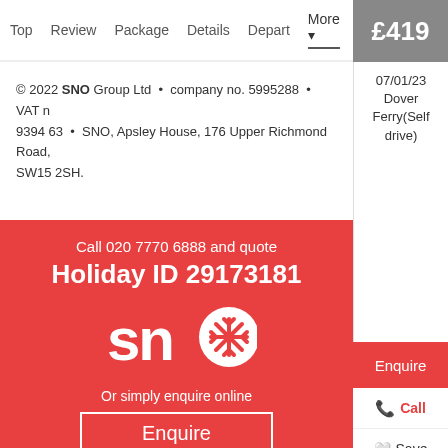Top  Review  Package  Details  Depart  More ▾  £419
07/01/23 Dover Ferry(Self drive)
© 2022 SNO Group Ltd • company no. 5995288 • VAT no. 9394 63 • SNO, Apsley House, 176 Upper Richmond Road, SW15 2SH.
Enquire
Call
Save
share
Call 020 7770 6888 and quote
Holiday ID 29173181
[Figure (logo): SNO snowflake logo in white on red background]
Or simply enquire online
Enquire